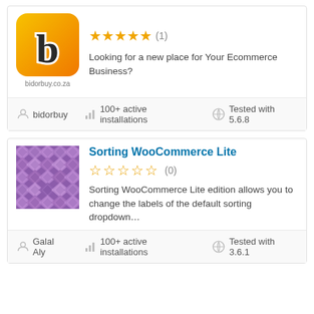[Figure (logo): bidorbuy.co.za logo — orange/yellow gradient square with stylized 'b' character and text bidorbuy.co.za]
bidorbuy WooCommerce Integration (partial, top cut off)
★★★★★ (1)
Looking for a new place for Your Ecommerce Business?
bidorbuy
100+ active installations
Tested with 5.6.8
Sorting WooCommerce Lite
☆☆☆☆☆ (0)
Sorting WooCommerce Lite edition allows you to change the labels of the default sorting dropdown...
[Figure (illustration): Purple diamond/checker pattern square thumbnail for Sorting WooCommerce Lite plugin]
Galal Aly
100+ active installations
Tested with 3.6.1